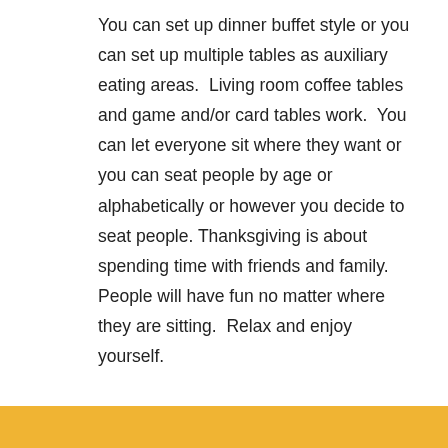You can set up dinner buffet style or you can set up multiple tables as auxiliary eating areas.  Living room coffee tables and game and/or card tables work.  You can let everyone sit where they want or you can seat people by age or alphabetically or however you decide to seat people.  Thanksgiving is about spending time with friends and family.  People will have fun no matter where they are sitting.  Relax and enjoy yourself.